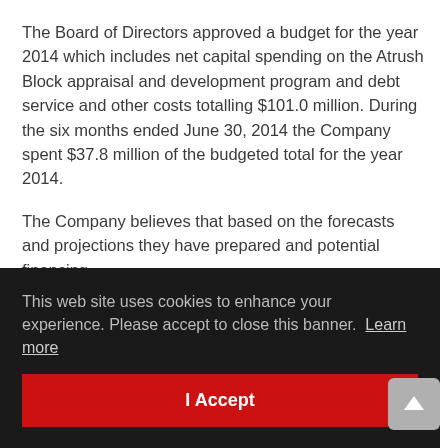The Board of Directors approved a budget for the year 2014 which includes net capital spending on the Atrush Block appraisal and development program and debt service and other costs totalling $101.0 million. During the six months ended June 30, 2014 the Company spent $37.8 million of the budgeted total for the year 2014.
The Company believes that based on the forecasts and projections they have prepared and potential financing [options available, the Company's ...] [Company's ...] [... as a] number of financing possibilities which it believes it
[Figure (other): Cookie consent banner overlay with dark background. Text reads: 'This web site uses cookies to enhance your experience. Please accept to close this banner. Learn more'. Contains a red 'I Accept' button.]